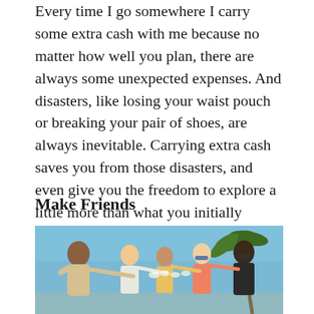Every time I go somewhere I carry some extra cash with me because no matter how well you plan, there are always some unexpected expenses. And disasters, like losing your waist pouch or breaking your pair of shoes, are always inevitable. Carrying extra cash saves you from those disasters, and even give you the freedom to explore a little more than what you initially planned.
Make Friends
[Figure (photo): A group of young adults outdoors on a sunny day clinking glasses in a toast, with a palm tree and blue sky in the background.]